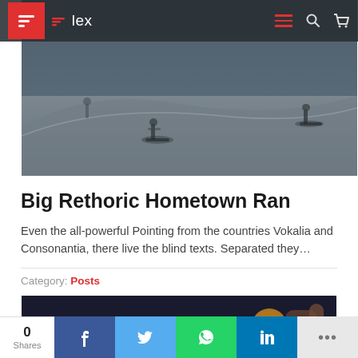Flex
[Figure (photo): Skatepark scene with skaters in action on concrete ramps, dark/moody tone]
Big Rethoric Hometown Ran
Even the all-powerful Pointing from the countries Vokalia and Consonantia, there live the blind texts. Separated they…
Category: Posts
[Figure (photo): Dark background with ALMA text made of wire/lights and a coin/citrus slice]
0 Shares